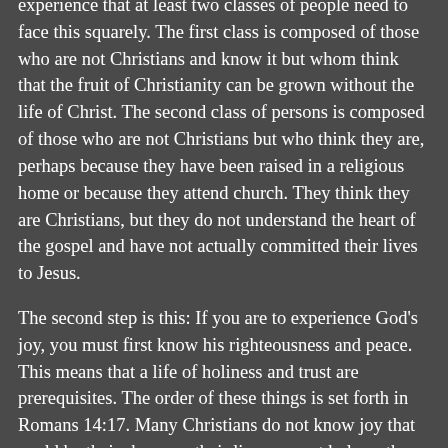experience that at least two classes of people need to face this squarely. The first class is composed of those who are not Christians and know it but whom think that the fruit of Christianity can be grown without the life of Christ. The second class of persons is composed of those who are not Christians but who think they are, perhaps because they have been raised in a religious home or because they attend church. They think they are Christians, but they do not understand the heart of the gospel and have not actually committed their lives to Jesus.
The second step is this: If you are to experience God's joy, you must first know his righteousness and peace. This means that a life of holiness and trust are prerequisites. The order of these things is set forth in Romans 14:17. Many Christians do not know joy that could be theirs because their lives are not holy or they do not trust God for their future. Sin keeps us from God, who is the source of joy. Anxiety also works